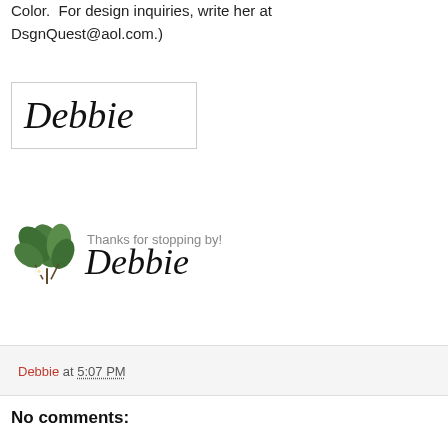Color. For design inquiries, write her at DsgnQuest@aol.com.)
[Figure (illustration): A cursive/script handwriting signature reading 'Debbie' inside a rectangular bordered box]
[Figure (illustration): A decorative blog footer image with green leaf/plant illustration on the left, text 'Thanks for stopping by!' above, and a cursive 'Debbie' signature to the right of the leaves]
Debbie at 5:07 PM
No comments: